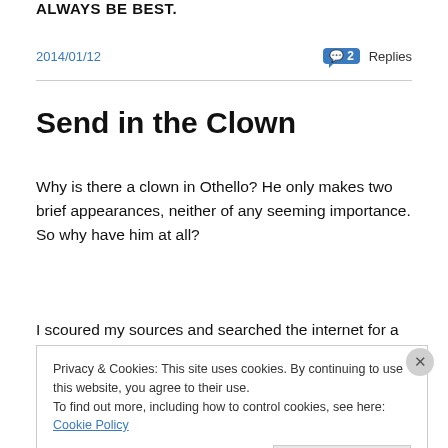ALWAYS BE BEST.
2014/01/12  💬 2 Replies
Send in the Clown
Why is there a clown in Othello? He only makes two brief appearances, neither of any seeming importance. So why have him at all?
I scoured my sources and searched the internet for a
Privacy & Cookies: This site uses cookies. By continuing to use this website, you agree to their use.
To find out more, including how to control cookies, see here: Cookie Policy
Close and accept